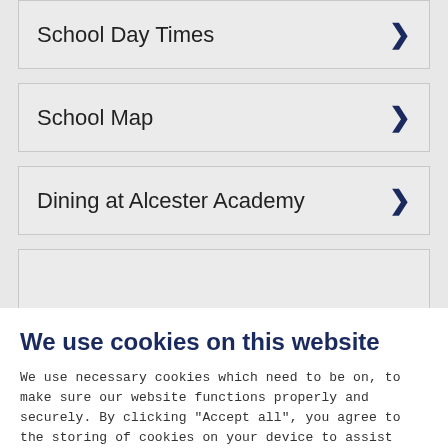School Day Times
School Map
Dining at Alcester Academy
We use cookies on this website
We use necessary cookies which need to be on, to make sure our website functions properly and securely. By clicking "Accept all", you agree to the storing of cookies on your device to assist with our marketing efforts, site navigation and site usage analysis. Please view our cookie policy for further details
I ACCEPT
MANAGE COOKIES